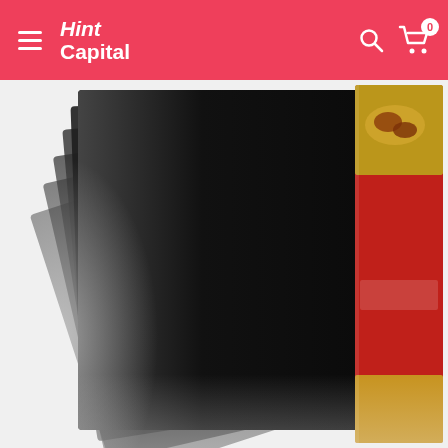Hint Capital - navigation header with logo, search, and cart icons
[Figure (photo): Product photo showing multiple black BBQ grill mats fanned out, with a red product box on the right side featuring a grill and food image]